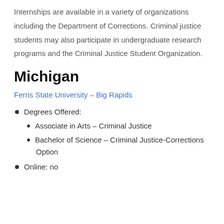Internships are available in a variety of organizations including the Department of Corrections. Criminal justice students may also participate in undergraduate research programs and the Criminal Justice Student Organization.
Michigan
Ferris State University – Big Rapids
Degrees Offered:
Associate in Arts – Criminal Justice
Bachelor of Science – Criminal Justice-Corrections Option
Online: no